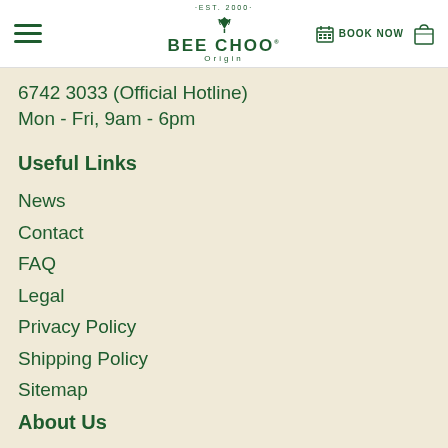BEE CHOO Origin — EST. 2000 — BOOK NOW
6742 3033 (Official Hotline)
Mon - Fri, 9am - 6pm
Useful Links
News
Contact
FAQ
Legal
Privacy Policy
Shipping Policy
Sitemap
About Us